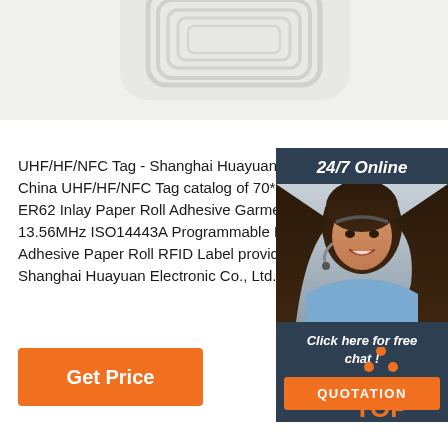[Figure (photo): Partial view of a white RFID tag with concentric oval/rectangular antenna coil pattern on light gray background, shown from above, slightly cut off at top.]
UHF/HF/NFC Tag - Shanghai Huayuan Electronic C
China UHF/HF/NFC Tag catalog of 70*14mm Impinj ER62 Inlay Paper Roll Adhesive Garment UHF RFID 13.56MHz ISO14443A Programmable MIFARE Clas Adhesive Paper Roll RFID Label provided by China Shanghai Huayuan Electronic Co., Ltd., page1.
[Figure (photo): Customer service chat widget with dark blue/slate background. Shows '24/7 Online' header text. Below is a photo of a smiling woman with dark hair wearing a headset and blue shirt (customer service agent). Below the photo is 'Click here for free chat!' text and an orange QUOTATION button.]
[Figure (other): Orange dot-pattern triangle logo above orange 'TOP' text, positioned at bottom right — a 'back to top' UI element.]
Get Price